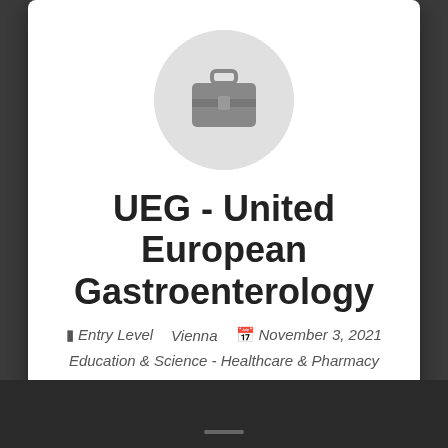[Figure (logo): Briefcase icon inside a light gray circle, representing a job/organization logo placeholder]
UEG - United European Gastroenterology
Entry Level   Vienna   November 3, 2021
Education & Science - Healthcare & Pharmacy